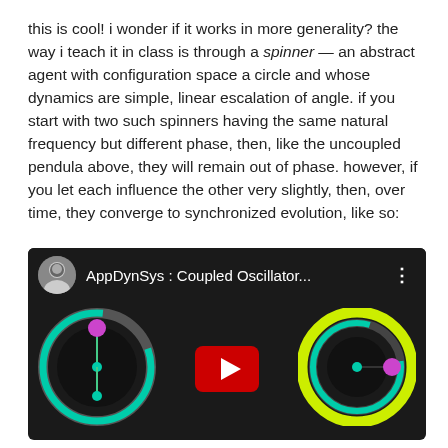this is cool! i wonder if it works in more generality? the way i teach it in class is through a spinner — an abstract agent with configuration space a circle and whose dynamics are simple, linear escalation of angle. if you start with two such spinners having the same natural frequency but different phase, then, like the uncoupled pendula above, they will remain out of phase. however, if you let each influence the other very slightly, then, over time, they converge to synchronized evolution, like so:
[Figure (screenshot): YouTube video thumbnail for 'AppDynSys : Coupled Oscillator...' showing two coupled spinner/oscillator diagrams on a dark background with a YouTube play button in the center. Left spinner has a teal ring with a magenta dot, right spinner has a yellow-green outer ring with a teal ring and magenta dot.]